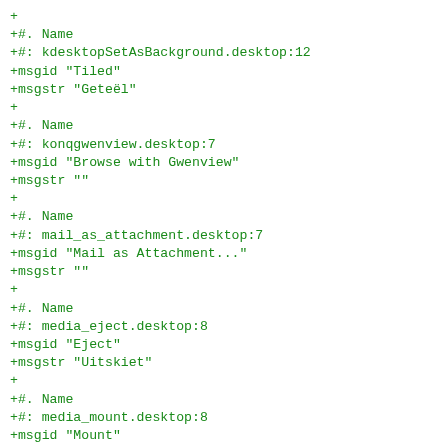+
+#. Name
+#: kdesktopSetAsBackground.desktop:12
+msgid "Tiled"
+msgstr "Geteël"
+
+#. Name
+#: konqgwenview.desktop:7
+msgid "Browse with Gwenview"
+msgstr ""
+
+#. Name
+#: mail_as_attachment.desktop:7
+msgid "Mail as Attachment..."
+msgstr ""
+
+#. Name
+#: media_eject.desktop:8
+msgid "Eject"
+msgstr "Uitskiet"
+
+#. Name
+#: media_mount.desktop:8
+msgid "Mount"
+msgstr "Koppel"
+
+#. Name
+#: media_realfolder.desktop:8
+msgid "Open Medium System Folder"
+msgstr ""